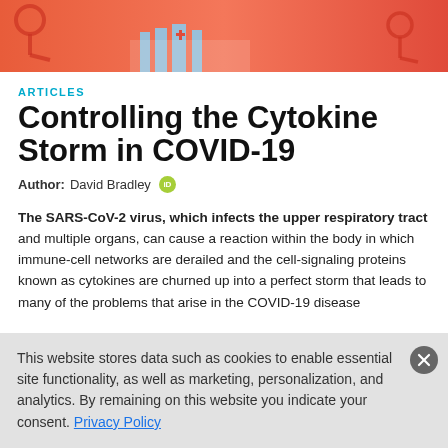[Figure (illustration): Medical illustration banner with orange/red background showing stethoscopes and a hospital building silhouette]
ARTICLES
Controlling the Cytokine Storm in COVID-19
Author: David Bradley [ORCID]
The SARS-CoV-2 virus, which infects the upper respiratory tract and multiple organs, can cause a reaction within the body in which immune-cell networks are derailed and the cell-signaling proteins known as cytokines are churned up into a perfect storm that leads to many of the problems that arise in the COVID-19 disease
This website stores data such as cookies to enable essential site functionality, as well as marketing, personalization, and analytics. By remaining on this website you indicate your consent. Privacy Policy